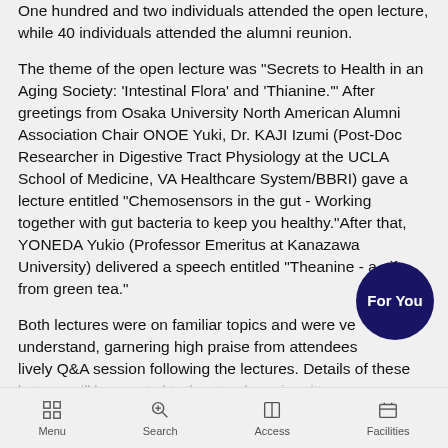One hundred and two individuals attended the open lecture, while 40 individuals attended the alumni reunion.
The theme of the open lecture was "Secrets to Health in an Aging Society: 'Intestinal Flora' and 'Thianine.'" After greetings from Osaka University North American Alumni Association Chair ONOE Yuki, Dr. KAJI Izumi (Post-Doc Researcher in Digestive Tract Physiology at the UCLA School of Medicine, VA Healthcare System/BBRI) gave a lecture entitled "Chemosensors in the gut - Working together with gut bacteria to keep you healthy."After that, YONEDA Yukio (Professor Emeritus at Kanazawa University) delivered a speech entitled "Theanine - a gift from green tea."
Both lectures were on familiar topics and were very easy to understand, garnering high praise from attendees and a lively Q&A session following the lectures. Details of these lectures will be...
[Figure (other): For You circular button — dark navy circle with white bold text 'For You']
Menu  Search  Access  Facilities